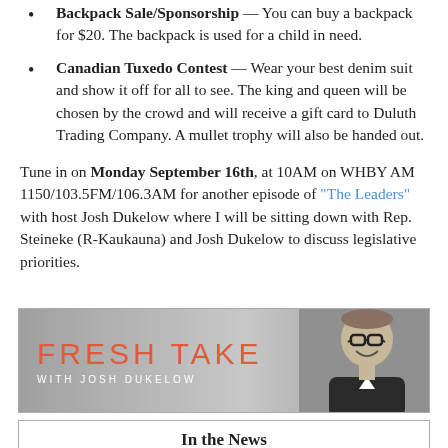Backpack Sale/Sponsorship — You can buy a backpack for $20. The backpack is used for a child in need.
Canadian Tuxedo Contest — Wear your best denim suit and show it off for all to see. The king and queen will be chosen by the crowd and will receive a gift card to Duluth Trading Company. A mullet trophy will also be handed out.
Tune in on Monday September 16th, at 10AM on WHBY AM 1150/103.5FM/106.3AM for another episode of "The Leaders" with host Josh Dukelow where I will be sitting down with Rep. Steineke (R-Kaukauna) and Josh Dukelow to discuss legislative priorities.
[Figure (photo): Fresh Take with Josh Dukelow banner/logo image showing the show title in red text on a gray background with a photo of a smiling man with glasses on the right side.]
In the News